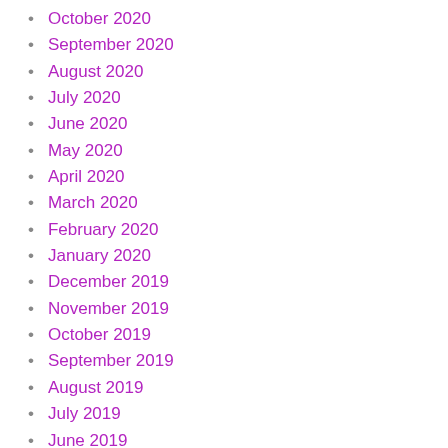October 2020
September 2020
August 2020
July 2020
June 2020
May 2020
April 2020
March 2020
February 2020
January 2020
December 2019
November 2019
October 2019
September 2019
August 2019
July 2019
June 2019
May 2019
April 2019
March 2019
February 2019
January 2019